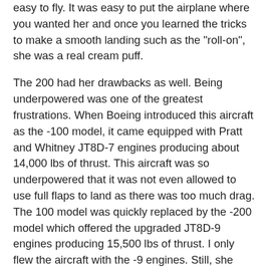easy to fly. It was easy to put the airplane where you wanted her and once you learned the tricks to make a smooth landing such as the "roll-on", she was a real cream puff.
The 200 had her drawbacks as well. Being underpowered was one of the greatest frustrations. When Boeing introduced this aircraft as the -100 model, it came equipped with Pratt and Whitney JT8D-7 engines producing about 14,000 lbs of thrust. This aircraft was so underpowered that it was not even allowed to use full flaps to land as there was too much drag. The 100 model was quickly replaced by the -200 model which offered the upgraded JT8D-9 engines producing 15,500 lbs of thrust. I only flew the aircraft with the -9 engines. Still, she was kind of a pig.
Don't Shut Off the APU!
Taking off of short runways was always kind of exciting. One procedure with which all -200 pilots had to become intimately familiar was the "bleeds off" takeoff. During normal operations, hot, compressed or "bleed" air is drawn out of the engines to run the air conditioning and to provide